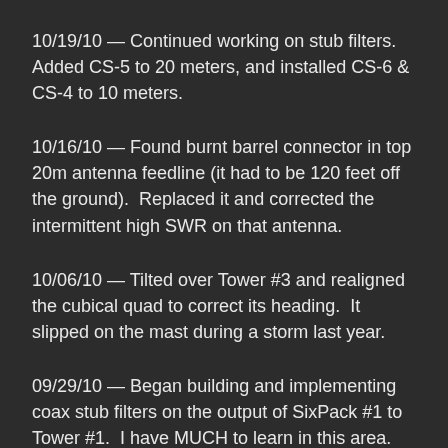10/19/10 — Continued working on stub filters.  Added CS-5 to 20 meters, and installed CS-6 & CS-4 to 10 meters.
10/16/10 — Found burnt barrel connector in top 20m antenna feedline (it had to be 120 feet off the ground).  Replaced it and corrected the intermittent high SWR on that antenna.
10/06/10 — Tilted over Tower #3 and realigned the cubical quad to correct its heading.  It slipped on the mast during a storm last year.
09/29/10 — Began building and implementing coax stub filters on the output of SixPack #1 to Tower #1.  I have MUCH to learn in this area.  Using an AIM4170, I cut two pieces of RG-213 to 1/4 WL at 7.150 MHz.  One I made into a CS-3 and installed on the 1.5 meter port of the